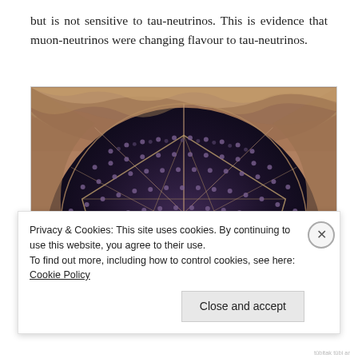but is not sensitive to tau-neutrinos. This is evidence that muon-neutrinos were changing flavour to tau-neutrinos.
[Figure (photo): Photograph of a large spherical particle detector viewed from inside, showing a dark metallic geodesic framework structure with many photomultiplier tubes arranged on its curved inner surface, surrounded by brownish tunnel walls.]
Privacy & Cookies: This site uses cookies. By continuing to use this website, you agree to their use.
To find out more, including how to control cookies, see here: Cookie Policy